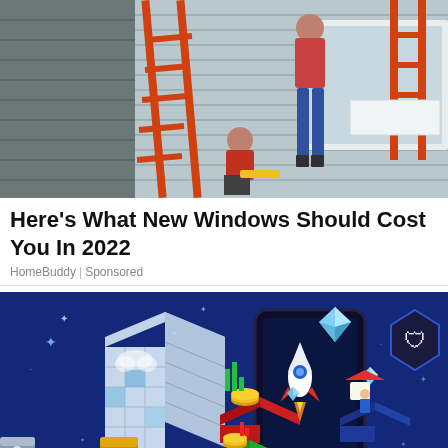[Figure (photo): Photo of people working on a house exterior with orange ladders, siding visible in background]
Here's What New Windows Should Cost You In 2022
HomeBuddy | Sponsored
[Figure (illustration): Dark blue background with colorful 3D isometric illustration featuring a crypto/fintech app concept: a large tiled building with cloud symbol, a smartphone with various floating icons including a rocket, diamond gem shapes, coins, trading charts, and a hexagonal Crypto.com logo badge in top right corner]